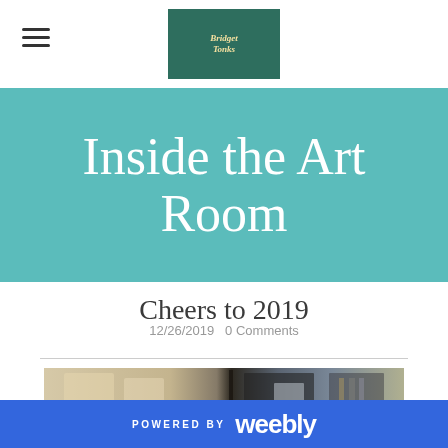Navigation bar with hamburger menu and logo
Inside the Art Room
Cheers to 2019
12/26/2019   0 Comments
[Figure (photo): Partial blurred photo of an art room interior showing framed artwork on walls]
POWERED BY weebly